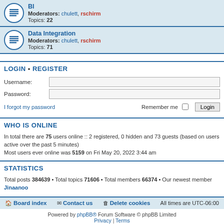BI — Moderators: chulett, rschirm — Topics: 22
Data Integration — Moderators: chulett, rschirm — Topics: 71
LOGIN • REGISTER
Username:
Password:
I forgot my password | Remember me [ ] Login
WHO IS ONLINE
In total there are 75 users online :: 2 registered, 0 hidden and 73 guests (based on users active over the past 5 minutes)
Most users ever online was 5159 on Fri May 20, 2022 3:44 am
STATISTICS
Total posts 384639 • Total topics 71606 • Total members 66374 • Our newest member Jinaanoo
Board index | Contact us | Delete cookies | All times are UTC-06:00
Powered by phpBB® Forum Software © phpBB Limited | Privacy | Terms